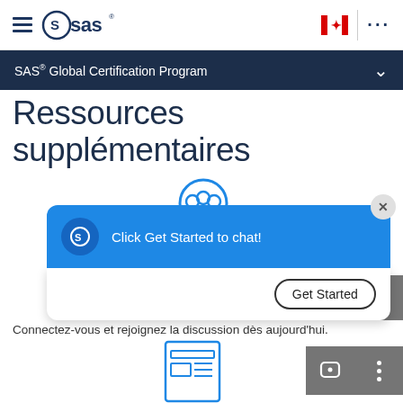[Figure (screenshot): SAS website navigation header with hamburger menu, SAS logo, Canadian flag icon, and ellipsis menu. Below is a dark navy breadcrumb bar reading 'SAS Global Certification Program' with a chevron. Page title 'Ressources supplémentaires' is shown. A blue chat popup with SAS logo says 'Click Get Started to chat!' with a 'Get Started' button. Text reads 'Connectez-vous et rejoignez la discussion dès aujourd'hui.' A document icon and community icon are partially visible.]